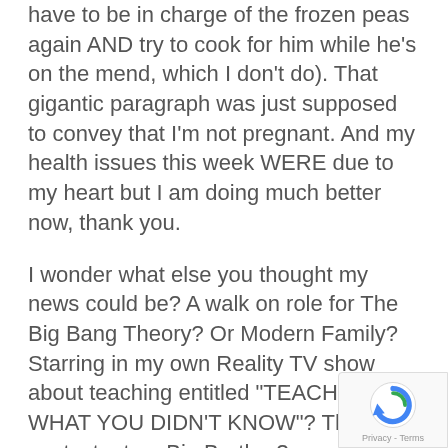have to be in charge of the frozen peas again AND try to cook for him while he's on the mend, which I don't do).  That gigantic paragraph was just supposed to convey that I'm not pregnant.  And my health issues this week WERE due to my heart but I am doing much better now, thank you.
I wonder what else you thought my news could be?  A walk on role for The Big Bang Theory?  Or Modern Family?  Starring in my own Reality TV show about teaching entitled "TEACHERS – WHAT YOU DIDN'T KNOW"?  The next contestant on Big Brother?
[Figure (logo): reCAPTCHA badge with Privacy and Terms link]